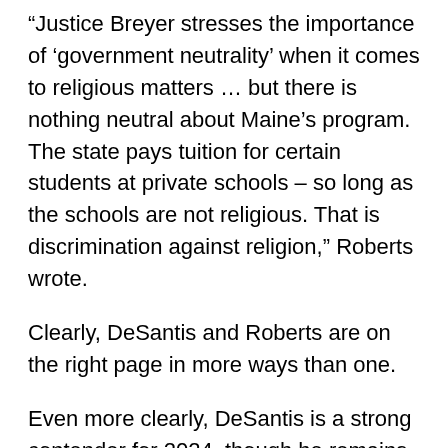“Justice Breyer stresses the importance of ‘government neutrality’ when it comes to religious matters … but there is nothing neutral about Maine’s program. The state pays tuition for certain students at private schools – so long as the schools are not religious. That is discrimination against religion,” Roberts wrote.
Clearly, DeSantis and Roberts are on the right page in more ways than one.
Even more clearly, DeSantis is a strong contender for 2024, though he remains fixated on the health of Florida, which has some of the most electoral votes of any state.